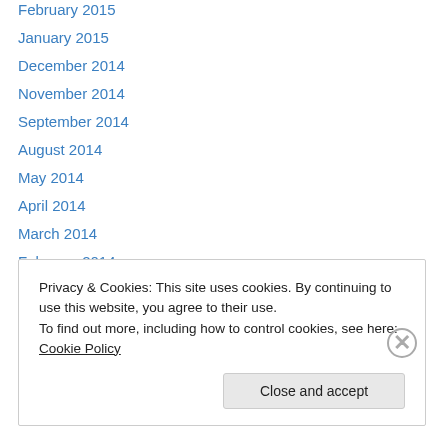February 2015
January 2015
December 2014
November 2014
September 2014
August 2014
May 2014
April 2014
March 2014
February 2014
January 2014
December 2013
November 2013
Privacy & Cookies: This site uses cookies. By continuing to use this website, you agree to their use.
To find out more, including how to control cookies, see here: Cookie Policy
Close and accept